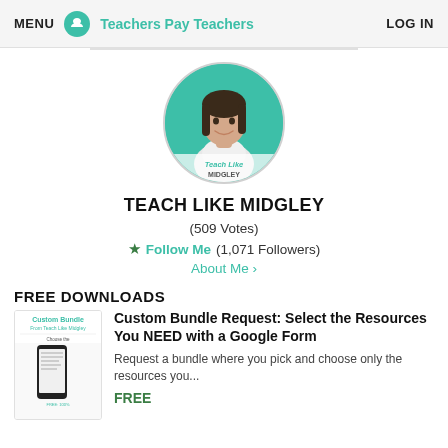MENU  Teachers Pay Teachers  LOG IN
[Figure (photo): Circular profile photo of a woman with dark hair smiling, on a teal background, with 'Teach Like Midgley' text overlay at bottom]
TEACH LIKE MIDGLEY
(509 Votes)
★ Follow Me (1,071 Followers)
About Me ›
FREE DOWNLOADS
[Figure (screenshot): Thumbnail image for Custom Bundle product showing a phone with document and teal/green text]
Custom Bundle Request: Select the Resources You NEED with a Google Form
Request a bundle where you pick and choose only the resources you...
FREE